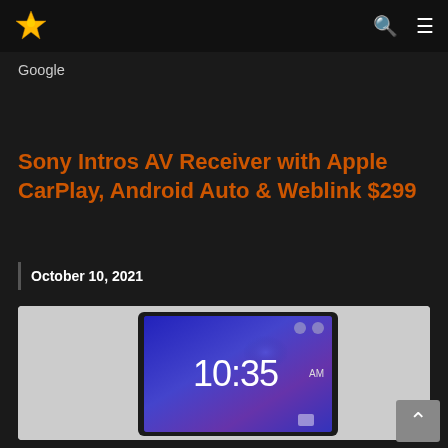Navigation bar with logo and menu icons
Google
Sony Intros AV Receiver with Apple CarPlay, Android Auto & Weblink $299
October 10, 2021
[Figure (photo): Sony AV receiver device showing a touchscreen display with time 10:35 AM on a blue background]